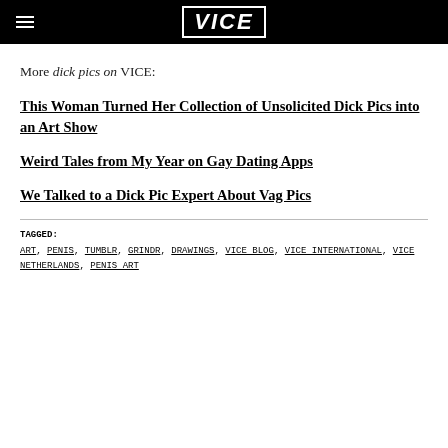VICE
More dick pics on VICE:
This Woman Turned Her Collection of Unsolicited Dick Pics into an Art Show
Weird Tales from My Year on Gay Dating Apps
We Talked to a Dick Pic Expert About Vag Pics
TAGGED: ART, PENIS, TUMBLR, GRINDR, DRAWINGS, VICE BLOG, VICE INTERNATIONAL, VICE NETHERLANDS, PENIS ART